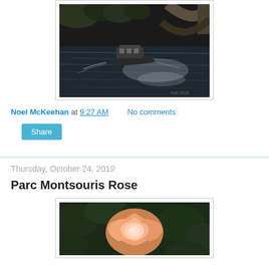[Figure (photo): Black and white photo of a boat on a river with a stone bridge arch visible in the background, trees along the bank]
Noel McKeehan at 9:27 AM    No comments:
Share
Thursday, October 24, 2019
Parc Montsouris Rose
[Figure (photo): Close-up color photo of a peach/salmon colored rose bloom against a dark green leafy background]